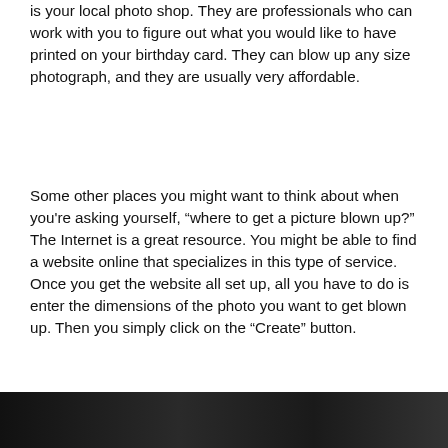is your local photo shop. They are professionals who can work with you to figure out what you would like to have printed on your birthday card. They can blow up any size photograph, and they are usually very affordable.
Some other places you might want to think about when you’re asking yourself, “where to get a picture blown up?” The Internet is a great resource. You might be able to find a website online that specializes in this type of service. Once you get the website all set up, all you have to do is enter the dimensions of the photo you want to get blown up. Then you simply click on the “Create” button.
[Figure (photo): A dark image/photo strip visible at the bottom of the page, showing a dark scene.]